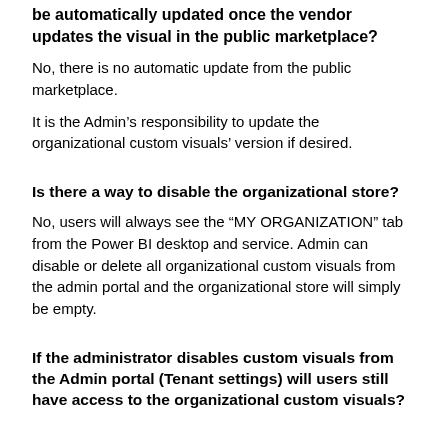be automatically updated once the vendor updates the visual in the public marketplace?
No, there is no automatic update from the public marketplace.
It is the Admin’s responsibility to update the organizational custom visuals’ version if desired.
Is there a way to disable the organizational store?
No, users will always see the “MY ORGANIZATION” tab from the Power BI desktop and service. Admin can disable or delete all organizational custom visuals from the admin portal and the organizational store will simply be empty.
If the administrator disables custom visuals from the Admin portal (Tenant settings) will users still have access to the organizational custom visuals?